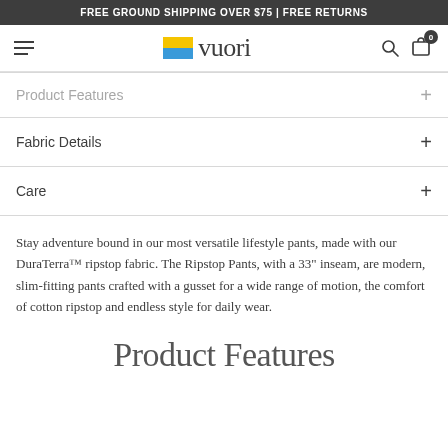FREE GROUND SHIPPING OVER $75 | FREE RETURNS
[Figure (logo): Vuori logo with colorful flag icon and brand name text]
Product Features
Fabric Details
Care
Stay adventure bound in our most versatile lifestyle pants, made with our DuraTerra™ ripstop fabric. The Ripstop Pants, with a 33" inseam, are modern, slim-fitting pants crafted with a gusset for a wide range of motion, the comfort of cotton ripstop and endless style for daily wear.
Product Features